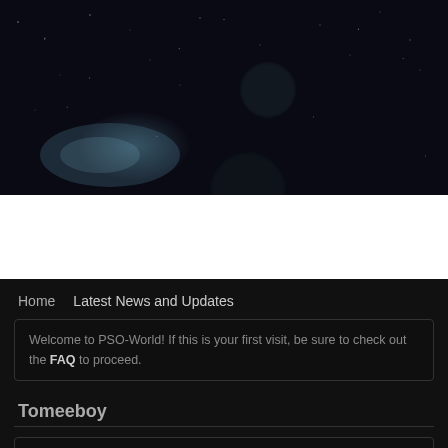[Figure (illustration): Dark space/sci-fi hero banner with stars, glowing nebula light, and dark planetary bodies]
NEWS | FORUMS | GUIDES & DATABASES | GALLERY
Latest News and Updates
Home   Latest News and Updates
Welcome to PSO-World! If this is your first visit, be sure to check out the FAQ to proceed.
Tomeeboy
PSO2 (JP) - Update on DDoS of PSO2 Servers and
by Tomeeboy Published on Jun 25, 2014 10:59 AM